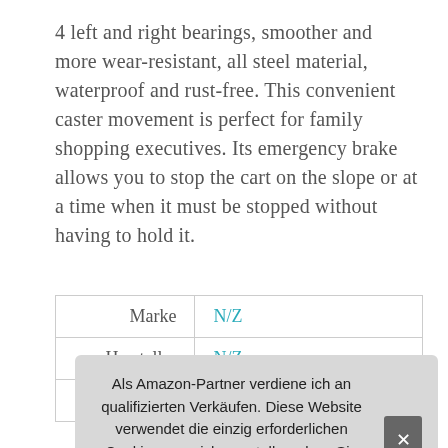4 left and right bearings, smoother and more wear-resistant, all steel material, waterproof and rust-free. This convenient caster movement is perfect for family shopping executives. Its emergency brake allows you to stop the cart on the slope or at a time when it must be stopped without having to hold it.
| Marke | N/Z |
| Hersteller | N/Z |
| A |  |
Als Amazon-Partner verdiene ich an qualifizierten Verkäufen. Diese Website verwendet die einzig erforderlichen Cookies, um sicherzustellen, dass Sie die bestmögliche Erfahrung auf unserer Website erzielen. Mehr Informationen